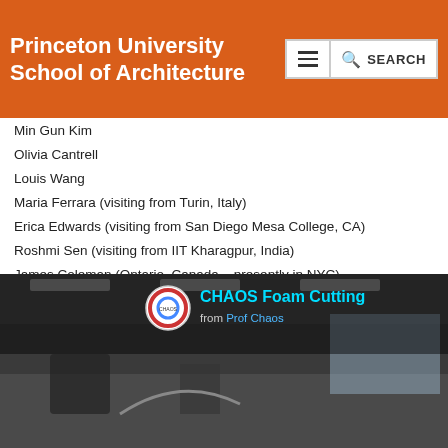Princeton University School of Architecture
Min Gun Kim
Olivia Cantrell
Louis Wang
Maria Ferrara (visiting from Turin, Italy)
Erica Edwards (visiting from San Diego Mesa College, CA)
Roshmi Sen (visiting from IIT Kharagpur, India)
James Coleman (Ontario, Canada – presently in NYC)
Jake Read (Ontario, Canada)
Gideon Aschwanden (Melbourne, Australia)
Marcel Bruelisauer (Singapore, Singapore)
[Figure (screenshot): Video thumbnail for 'CHAOS Foam Cutting' by Prof Chaos, showing an interior workshop/lab space with equipment, dark overlay with title text and channel logo.]